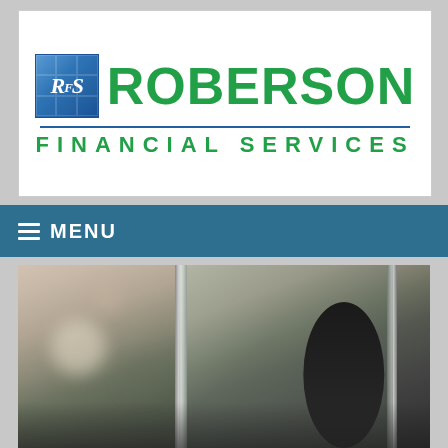[Figure (logo): Roberson Financial Services logo with blue RFS icon box and green text reading ROBERSON above FINANCIAL SERVICES]
≡ MENU
[Figure (photo): Close-up photo of a car window with chrome frame, showing blurry parked cars in background on left side and a person silhouette visible through the glass on the right side]